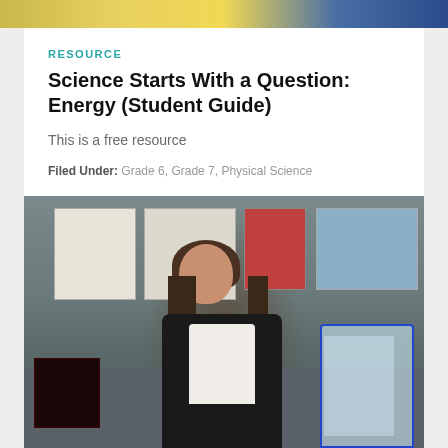[Figure (photo): Top decorative banner with gold and blue gradient colors]
RESOURCE
Science Starts With a Question: Energy (Student Guide)
This is a free resource
Filed Under:  Grade 6,  Grade 7,  Physical Science
[Figure (photo): A female teacher standing in front of a classroom bulletin board with papers and posters, wearing a black blazer over a white top. There are items on a table including a book and a plastic bag on the right side.]